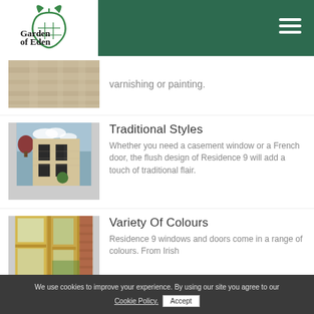Garden of Eden - header navigation
varnishing or painting.
Traditional Styles
Whether you need a casement window or a French door, the flush design of Residence 9 will add a touch of traditional flair.
Variety Of Colours
Residence 9 windows and doors come in a range of colours. From Irish
We use cookies to improve your experience. By using our site you agree to our Cookie Policy. Accept